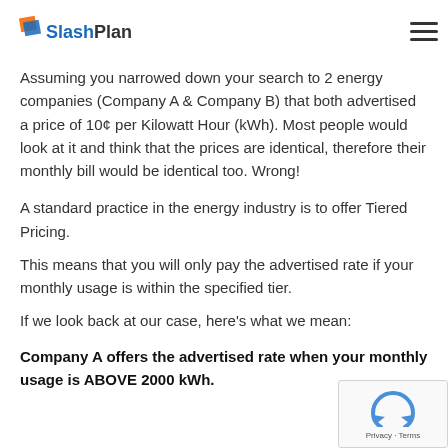SlashPlan
Assuming you narrowed down your search to 2 energy companies (Company A & Company B) that both advertised a price of 10¢ per Kilowatt Hour (kWh). Most people would look at it and think that the prices are identical, therefore their monthly bill would be identical too. Wrong!
A standard practice in the energy industry is to offer Tiered Pricing.
This means that you will only pay the advertised rate if your monthly usage is within the specified tier.
If we look back at our case, here's what we mean:
Company A offers the advertised rate when your monthly usage is ABOVE 2000 kWh.